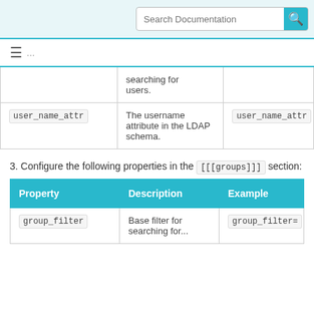Search Documentation
| Property | Description | Example |
| --- | --- | --- |
|  | searching for users. |  |
| user_name_attr | The username attribute in the LDAP schema. | user_name_attr |
3. Configure the following properties in the [[[groups]]] section:
| Property | Description | Example |
| --- | --- | --- |
| group_filter | Base filter for searching for... | group_filter= |